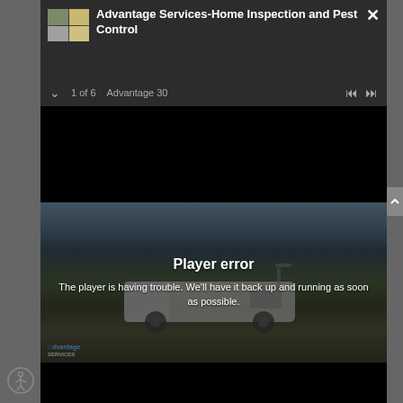Advantage Services-Home Inspection and Pest Control
1 of 6   Advantage 30
[Figure (screenshot): Video player showing black screen (loading area) above a still frame of a white service van parked outside a home, with a dark overlay and player error message.]
Player error
The player is having trouble. We'll have it back up and running as soon as possible.